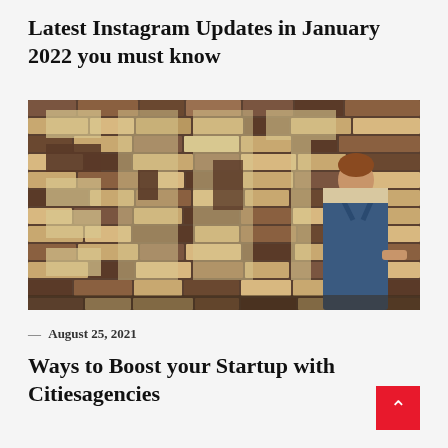Latest Instagram Updates in January 2022 you must know
[Figure (photo): Man in blue overalls standing in front of a brick wall with large letters spelling 'START' formed by contrasting light and dark bricks]
— August 25, 2021
Ways to Boost your Startup with Citiesagencies